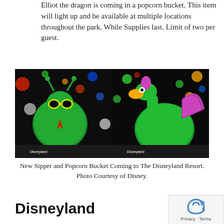Elliot the dragon is coming in a popcorn bucket. This item will light up and be available at multiple locations throughout the park. While Supplies last. Limit of two per guest.
[Figure (photo): Two side-by-side photos of Disneyland merchandise against dark backgrounds with colorful bokeh lights. Left photo shows a green caterpillar/bug character sipper with glasses and a red tie. Right photo shows a green dragon (Elliot) popcorn bucket with pink wings and yellow details.]
New Sipper and Popcorn Bucket Coming to The Disneyland Resort. Photo Courtesy of Disney.
Disneyland